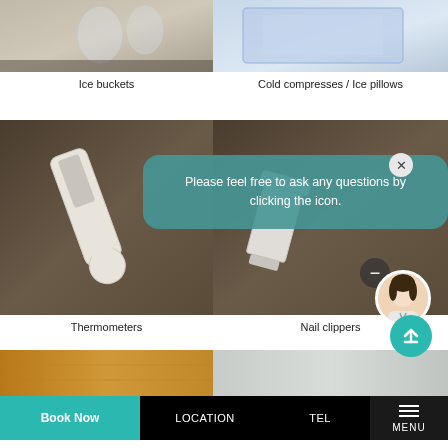[Figure (photo): Photo of ice bucket with glasses on a dark table, cropped at top]
Ice buckets
[Figure (photo): Photo of cold compress or ice pillow, blue-toned, cropped at top]
Cold compresses / Ice pillows
[Figure (photo): Photo of a white thermometer on a dark woven fabric background]
Thermometers
[Figure (photo): Photo of nail clippers on a dark woven fabric background]
Nail clippers
Please feel free to ask any questions by clicking the icon.
[Figure (photo): Partial photo of wooden surface, bottom row left]
[Figure (photo): Partial photo, bottom row right]
Sotetsu Fresa Inn Ginza-Nanachome